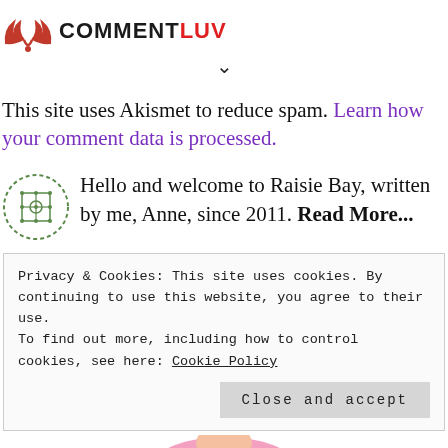[Figure (logo): CommentLuv logo with red wing icon and bold text COMMENT in black, LUV in red]
[Figure (other): Down chevron/arrow symbol]
This site uses Akismet to reduce spam. Learn how your comment data is processed.
Hello and welcome to Raisie Bay, written by me, Anne, since 2011. Read More...
Privacy & Cookies: This site uses cookies. By continuing to use this website, you agree to their use.
To find out more, including how to control cookies, see here: Cookie Policy
Close and accept
[Figure (illustration): Partial illustration of a cartoon character in pink at bottom of page]